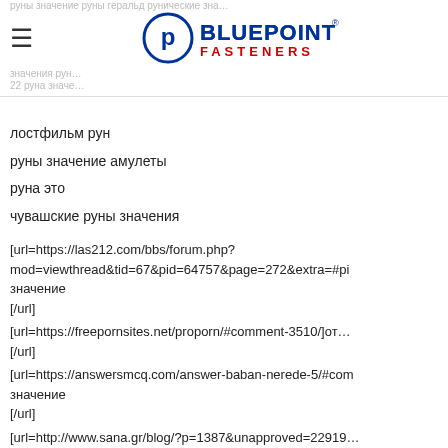руны значение руны геральдрунические зна…
значения рун…
22 руна значе…
[Figure (logo): Bluepoint Fasteners logo with circular P symbol and text BLUEPOINT FASTENERS]
лостфильм рун
руны значение амулеты
руна это
чувашские руны значения
[url=https://las212.com/bbs/forum.php?mod=viewthread&tid=67&pid=64757&page=272&extra=#pi значение
[/url]
[url=https://freepornsites.net/proporn/#comment-3510/]от…
[/url]
[url=https://answersmcq.com/answer-baban-nerede-5/#com значение
[/url]
[url=http://www.sana.gr/blog/?p=1387&unapproved=22919…